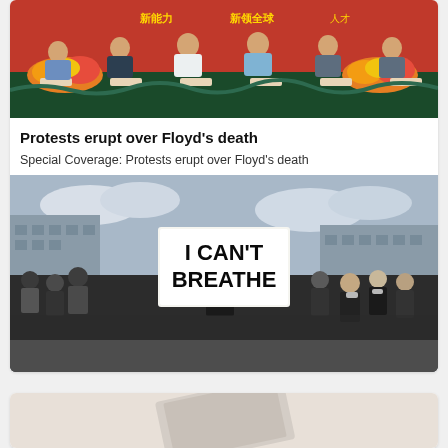[Figure (photo): Panel of people seated at a long table with floral arrangements in front, red background with Chinese text, formal conference or press event setting]
Protests erupt over Floyd's death
Special Coverage: Protests erupt over Floyd's death
[Figure (photo): Crowd of protesters, one person in the center holding a large sign reading 'I CAN'T BREATHE', people wearing masks, urban city square background]
[Figure (photo): Partial view of another image at the bottom of the page]